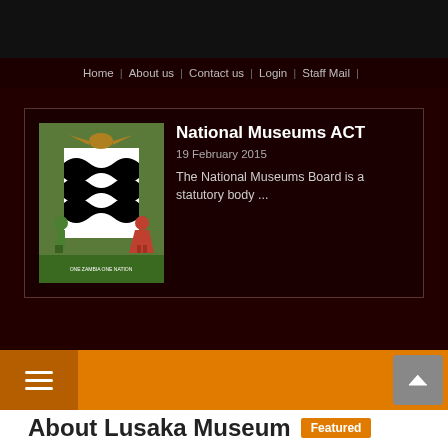Home | About us | Contact us | Login | Staff Mail |
National Museums ACT
19 February 2015
The National Museums Board is a statutory body ...
About Lusaka Museum Featured
Saturday, 07 February 2015  (0 votes)
Written by  Executive Secretary   font size